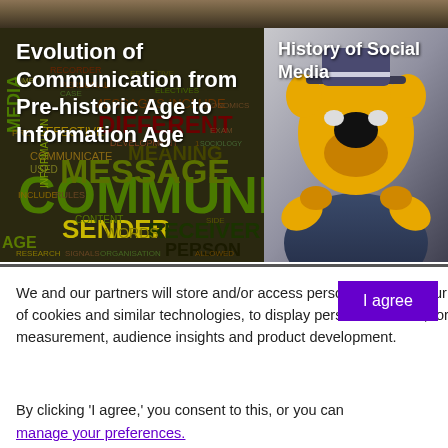[Figure (illustration): Word cloud image about communication with words like COMMUNICAT, MESSAGE, SENDER, RECEIVER, PERSON, MEANING, DIFFERENT, WORDS, etc. in various colors (green, dark red, yellow, olive)]
Evolution of Communication from Pre-historic Age to Information Age
[Figure (photo): Photo of a person in a yellow cartoon dog mascot costume with black nose, wearing a blue shirt, gesturing with hands pointing forward, against a grey background]
History of Social Media
We and our partners will store and/or access personal data on your device through the use of cookies and similar technologies, to display personalised ads, for ad and content measurement, audience insights and product development.
By clicking 'I agree,' you consent to this, or you can manage your preferences.